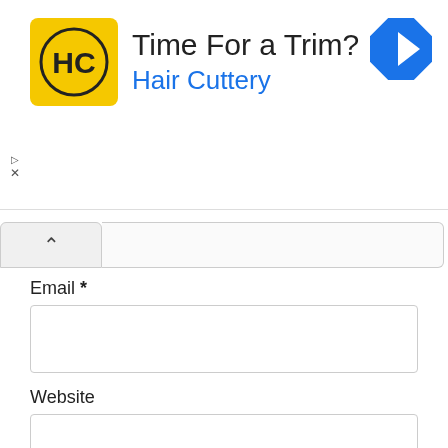[Figure (screenshot): Hair Cuttery advertisement banner with yellow square logo showing 'HC' letters, title 'Time For a Trim?', subtitle 'Hair Cuttery' in blue, and a blue diamond navigation icon top right. Play and close controls on left side.]
^
Email *
Website
Comment *